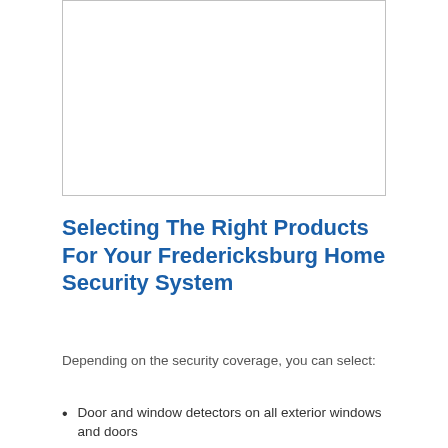[Figure (photo): Image placeholder with gray border, white interior — likely a home security product photo]
Selecting The Right Products For Your Fredericksburg Home Security System
Depending on the security coverage, you can select:
Door and window detectors on all exterior windows and doors